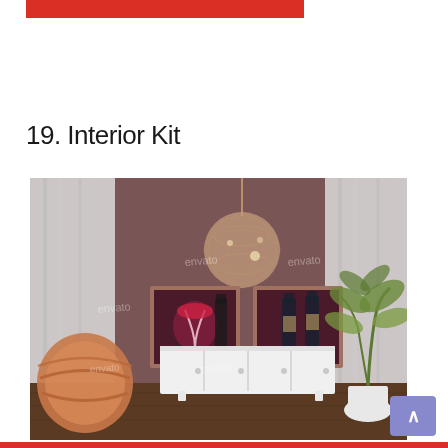19. Interior Kit
[Figure (photo): Interior design scene showing a living/dining room with mauve/brown walls, white curtains, a decorative wicker ball pendant light hanging from ceiling, two framed wine-themed artworks on the wall, a white sideboard/credenza with four doors, a round barrel-style chair in terracotta color on the left, and a potted plant on the right. Multiple 'envato' watermarks visible across the image.]